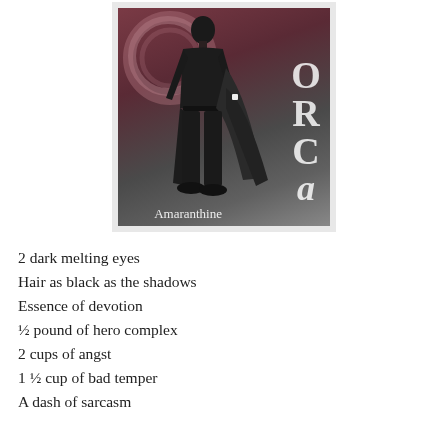[Figure (illustration): Anime-style illustration of a tall figure dressed in all black with a long coat, standing against a dark mauve/grey background. Large decorative letters 'ORCA' or similar run vertically on the right side. A circular emblem is in the upper left. The word 'Amaranthine' appears at the bottom right in white text.]
2 dark melting eyes
Hair as black as the shadows
Essence of devotion
½ pound of hero complex
2 cups of angst
1 ½ cup of bad temper
A dash of sarcasm